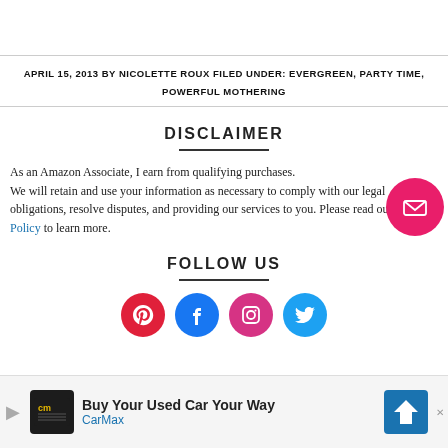APRIL 15, 2013 BY NICOLETTE ROUX FILED UNDER: EVERGREEN, PARTY TIME, POWERFUL MOTHERING
DISCLAIMER
As an Amazon Associate, I earn from qualifying purchases. We will retain and use your information as necessary to comply with our legal obligations, resolve disputes, and providing our services to you. Please read our Privacy Policy to learn more.
FOLLOW US
[Figure (infographic): Four circular social media icons: Pinterest (red), Facebook (blue), Instagram (pink-red), Twitter (light blue). Plus a floating email/envelope button in hot pink.]
[Figure (infographic): Advertisement bar for CarMax - Buy Your Used Car Your Way]